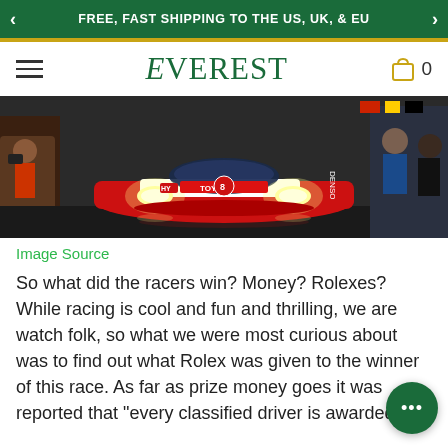FREE, FAST SHIPPING TO THE US, UK, & EU
EVEREST
[Figure (photo): A red and white Toyota GR010 Hybrid Le Mans race car with headlights on, surrounded by spectators and team members on pit lane at night.]
Image Source
So what did the racers win? Money? Rolexes? While racing is cool and fun and thrilling, we are watch folk, so what we were most curious about was to find out what Rolex was given to the winner of this race. As far as prize money goes it was reported that "every classified driver is awarded